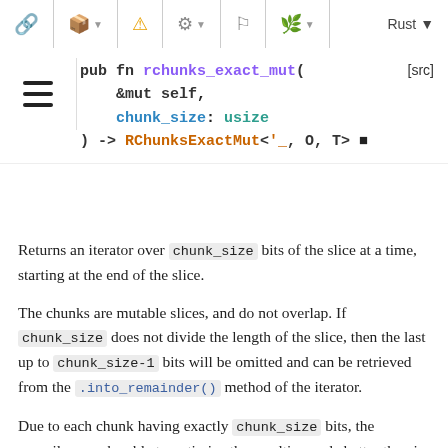Rust documentation toolbar with package, box, warning, gear, flag, leaf icons and language selector 'Rust'
pub fn rchunks_exact_mut(
    &mut self,
    chunk_size: usize
) -> RChunksExactMut<'_, O, T>  [src]
Returns an iterator over chunk_size bits of the slice at a time, starting at the end of the slice.
The chunks are mutable slices, and do not overlap. If chunk_size does not divide the length of the slice, then the last up to chunk_size-1 bits will be omitted and can be retrieved from the .into_remainder() method of the iterator.
Due to each chunk having exactly chunk_size bits, the compiler may be able to optimize the resulting code better than in the case of .rchunks_mut().
See .rchunks_mut() for a variant of this iterator that also returns the remainder as a smaller chunk